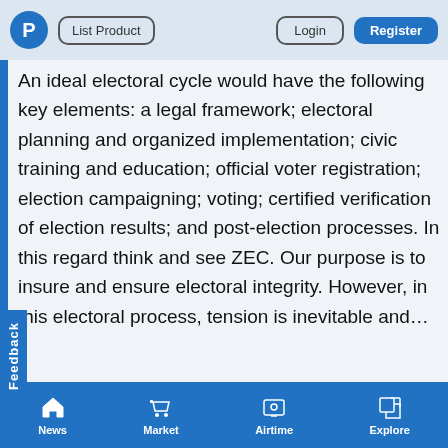P  List Product    Login  Register
An ideal electoral cycle would have the following key elements: a legal framework; electoral planning and organized implementation; civic training and education; official voter registration; election campaigning; voting; certified verification of election results; and post-election processes. In this regard think and see ZEC. Our purpose is to insure and ensure electoral integrity. However, in this electoral process, tension is inevitable and...
News  Market  Airtime  Explore